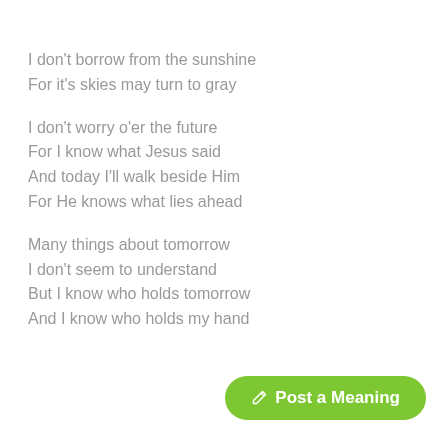I don't borrow from the sunshine
For it's skies may turn to gray
I don't worry o'er the future
For I know what Jesus said
And today I'll walk beside Him
For He knows what lies ahead
Many things about tomorrow
I don't seem to understand
But I know who holds tomorrow
And I know who holds my hand
✏ Post a Meaning